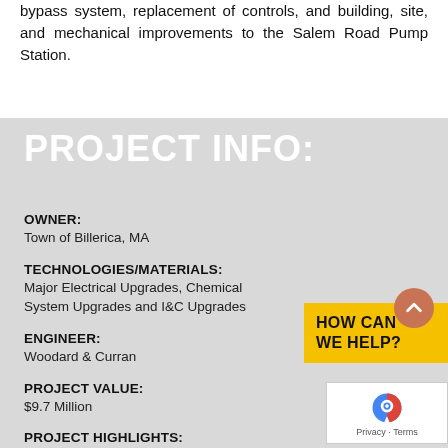bypass system, replacement of controls, and building, site, and mechanical improvements to the Salem Road Pump Station.
PROJECT INFO:
OWNER:
Town of Billerica, MA
TECHNOLOGIES/MATERIALS:
Major Electrical Upgrades, Chemical System Upgrades and I&C Upgrades
HOW CAN WE HELP?
ENGINEER:
Woodard & Curran
PROJECT VALUE:
$9.7 Million
PROJECT HIGHLIGHTS:
This projects replaces the Operations Building at the WBPE facility and improves both the Salem...